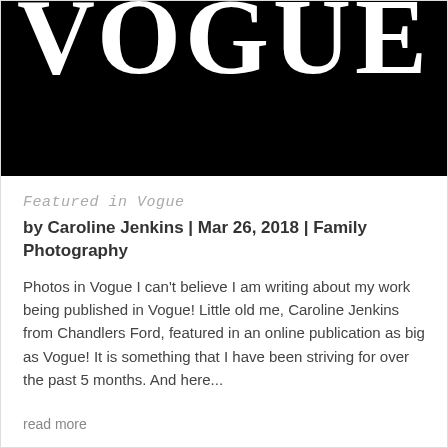[Figure (logo): Vogue magazine logo — white bold serif text on black background, partially cropped at top]
Featured in Vogue
by Caroline Jenkins | Mar 26, 2018 | Family Photography
Photos in Vogue I can't believe I am writing about my work being published in Vogue! Little old me, Caroline Jenkins from Chandlers Ford, featured in an online publication as big as Vogue! It is something that I have been striving for over the past 5 months. And here...
read more